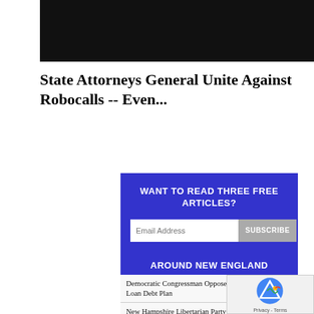[Figure (photo): Dark/black image at top of page, partially cropped, showing a dark subject]
State Attorneys General Unite Against Robocalls -- Even...
[Figure (infographic): Blue subscription box with text 'WANT TO READ THREE FREE ARTICLES?' and an email address input field with SUBSCRIBE button]
[Figure (infographic): Blue banner reading 'AROUND NEW ENGLAND']
Democratic Congressman Opposes Biden’s Student Loan Debt Plan
New Hampshire Libertarian Party Makes Light of Holocaust Victims and John